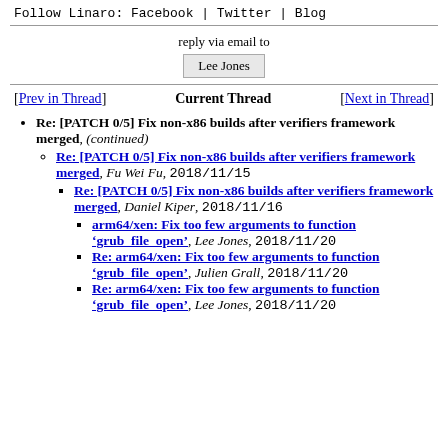Follow Linaro: Facebook | Twitter | Blog
reply via email to
Lee Jones
[Prev in Thread]   Current Thread   [Next in Thread]
Re: [PATCH 0/5] Fix non-x86 builds after verifiers framework merged, (continued)
Re: [PATCH 0/5] Fix non-x86 builds after verifiers framework merged, Fu Wei Fu, 2018/11/15
Re: [PATCH 0/5] Fix non-x86 builds after verifiers framework merged, Daniel Kiper, 2018/11/16
arm64/xen: Fix too few arguments to function ‘grub_file_open’, Lee Jones, 2018/11/20
Re: arm64/xen: Fix too few arguments to function ‘grub_file_open’, Julien Grall, 2018/11/20
Re: arm64/xen: Fix too few arguments to function ‘grub_file_open’, Lee Jones, 2018/11/20